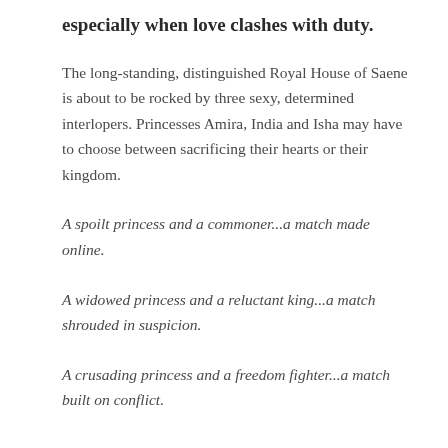especially when love clashes with duty.
The long-standing, distinguished Royal House of Saene is about to be rocked by three sexy, determined interlopers. Princesses Amira, India and Isha may have to choose between sacrificing their hearts or their kingdom.
A spoilt princess and a commoner...a match made online.
A widowed princess and a reluctant king...a match shrouded in suspicion.
A crusading princess and a freedom fighter...a match built on conflict.